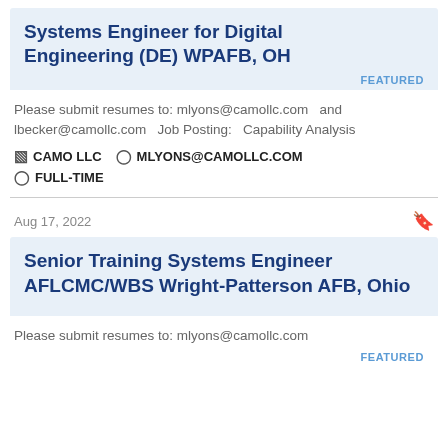Systems Engineer for Digital Engineering (DE) WPAFB, OH
FEATURED
Please submit resumes to: mlyons@camollc.com  and lbecker@camollc.com  Job Posting:  Capability Analysis
CAMO LLC  MLYONS@CAMOLLC.COM  FULL-TIME
Aug 17, 2022
Senior Training Systems Engineer AFLCMC/WBS Wright-Patterson AFB, Ohio
FEATURED
Please submit resumes to: mlyons@camollc.com